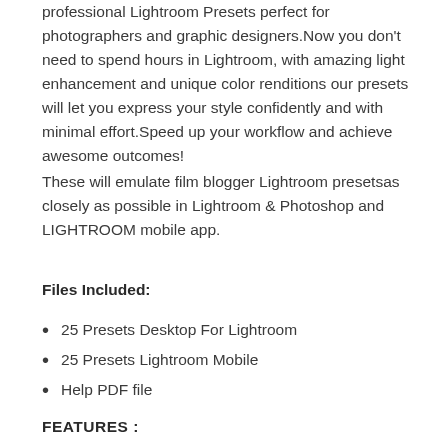professional Lightroom Presets perfect for photographers and graphic designers.Now you don't need to spend hours in Lightroom, with amazing light enhancement and unique color renditions our presets will let you express your style confidently and with minimal effort.Speed up your workflow and achieve awesome outcomes!
These will emulate film blogger Lightroom presetsas closely as possible in Lightroom & Photoshop and LIGHTROOM mobile app.
Files Included:
25 Presets Desktop For Lightroom
25 Presets Lightroom Mobile
Help PDF file
FEATURES :